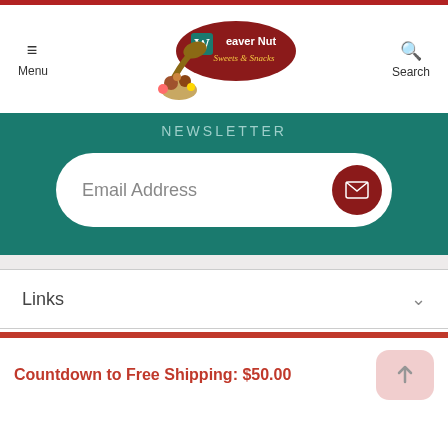[Figure (logo): Weaver Nut Sweets & Snacks logo with scoop and candies illustration]
Menu
Search
Newsletter
Email Address
Links
Countdown to Free Shipping: $50.00